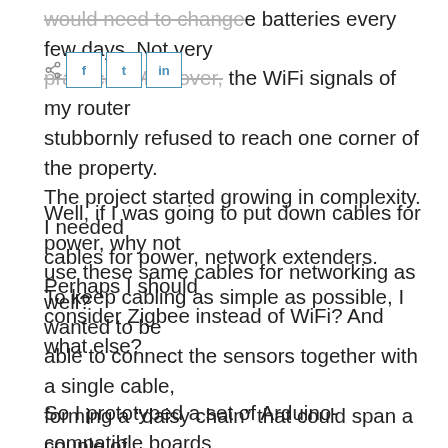would need to change batteries every few days. Not very practical. Moreover, the WiFi signals of my router stubbornly refused to reach one corner of the property. The project started growing in complexity. I needed cables for power, network extenders. Perhaps I should consider Zigbee instead of WiFi? And what else?
Well, if I was going to put down cables for power, why not use these same cables for networking as well?
To keep cabling as simple as possible, I wanted to be able to connect the sensors together with a single cable, forming a “daisy chain” that could span a couple of hundred meters (~ 600 feet).
So I prototyped a set of Arduino-compatible boards equipped with a CAN-bus network driver. CAN is a robust bus communication protocol that is widely used in